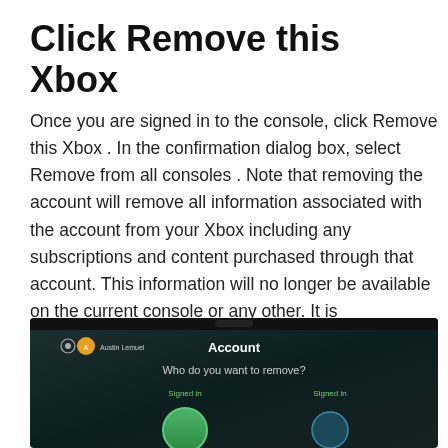Click Remove this Xbox
Once you are signed in to the console, click Remove this Xbox . In the confirmation dialog box, select Remove from all consoles . Note that removing the account will remove all information associated with the account from your Xbox including any subscriptions and content purchased through that account. This information will no longer be available on the current console or any other. It is recommended that you save this information to a USB drive in the event you may want to use it again in the future.
[Figure (screenshot): Xbox console screen showing an 'Account' dialog with the text 'Who do you want to remove?' and account avatars labeled 'Signed in']